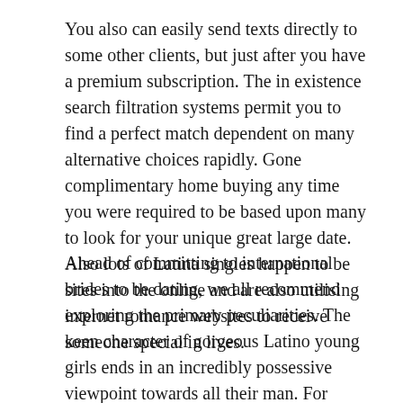You also can easily send texts directly to some other clients, but just after you have a premium subscription. The in existence search filtration systems permit you to find a perfect match dependent on many alternative choices rapidly. Gone complimentary home buying any time you were required to be based upon many to look for your unique great large date. Also lots of Latina singles happen to be sites into the online and are also utilising internet romance websites to receive someone special in lives.
Ahead of committing to international brides to be dating, we all recommend exploring the primary peculiarities. The keen character of gorgeous Latino young girls ends in an incredibly possessive viewpoint towards all their man. For anyone who is in a marriage with a Latina girl, you can't take a glance at different ladies or Goodness forbid